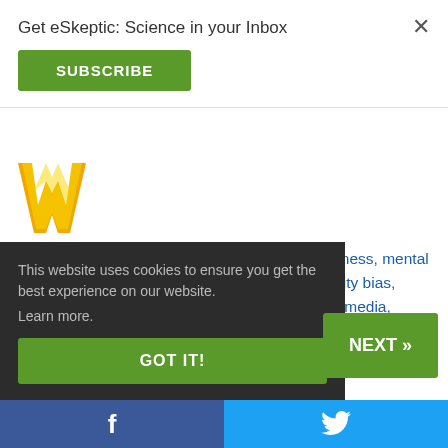Get eSkeptic: Science in your Inbox
SUBSCRIBE
[Figure (logo): Gold/yellow W letter logo]
Topics: attention bias, brain, inattentional blindness, mental health, mind, mindfulness, multitasking, negativity bias, neuroscience, rationality, Science Salon, social media, stress, The Michael Shermer Show, thinking, thought flooding
This website uses cookies to ensure you get the best experience on our website.
Learn more.
GOT IT!
NEXT »